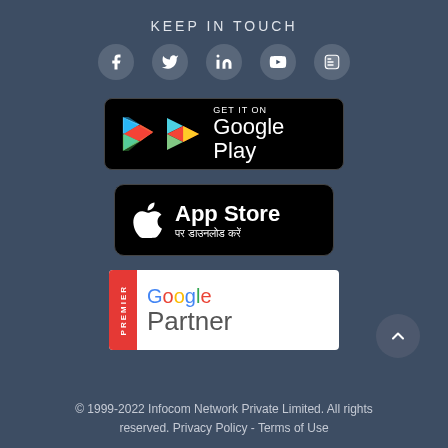KEEP IN TOUCH
[Figure (illustration): Social media icons: Facebook, Twitter, LinkedIn, YouTube, Blogger]
[Figure (logo): GET IT ON Google Play badge]
[Figure (logo): App Store पर डाउनलोड करें badge]
[Figure (logo): PREMIER Google Partner badge]
© 1999-2022 Infocom Network Private Limited. All rights reserved. Privacy Policy - Terms of Use